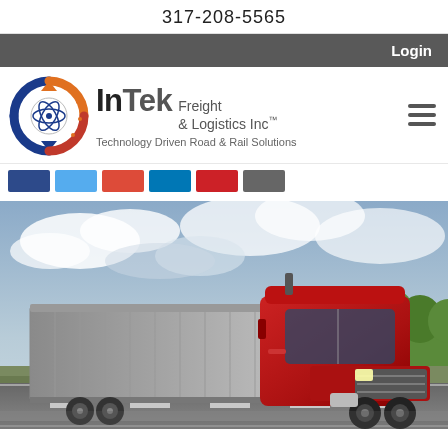317-208-5565
Login
[Figure (logo): InTek Freight & Logistics Inc logo with circular atom/arrow icon in blue, orange, and red. Text reads: InTek Freight & Logistics Inc™, Technology Driven Road & Rail Solutions]
[Figure (illustration): Row of social media icon buttons: dark blue (Facebook), light blue (Twitter), red-orange (Google+/YouTube), dark blue (LinkedIn), red (Pinterest), gray (other)]
[Figure (photo): Large red semi-truck with silver trailer driving on a highway with cloudy sky and green trees in background]